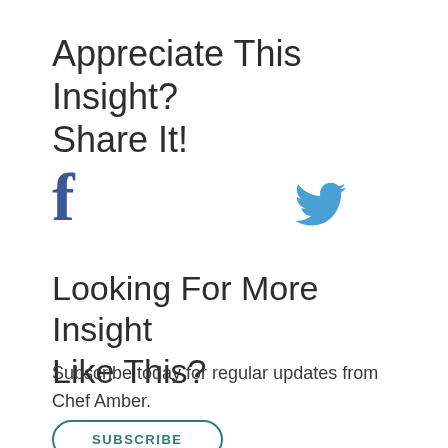Appreciate This Insight? Share It!
[Figure (illustration): Facebook and Twitter social media share icons side by side]
Looking For More Insight Like This?
Subscribe today for regular updates from Chef Amber.
SUBSCRIBE